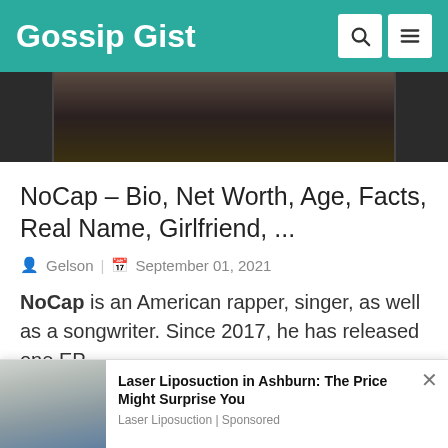Gossip Gist
[Figure (photo): Partial photo of NoCap, cropped to show upper body/head area with dark clothing and gold accents]
NoCap – Bio, Net Worth, Age, Facts, Real Name, Girlfriend, ...
Gelson | September 01, 2021
NoCap is an American rapper, singer, as well as a songwriter. Since 2017, he has released one EP
[Figure (photo): Advertisement thumbnail showing person receiving laser liposuction treatment]
Laser Liposuction in Ashburn: The Price Might Surprise You
Laser Liposuction | Sponsored